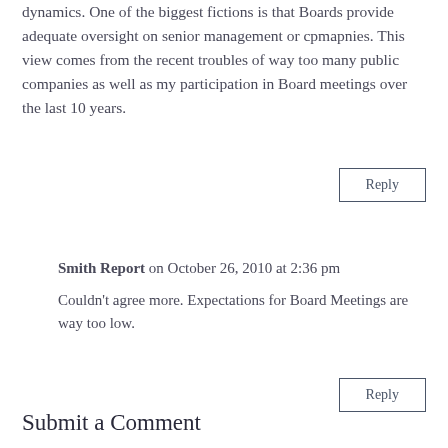dynamics. One of the biggest fictions is that Boards provide adequate oversight on senior management or cpmapnies. This view comes from the recent troubles of way too many public companies as well as my participation in Board meetings over the last 10 years.
Reply
Smith Report on October 26, 2010 at 2:36 pm
Couldn't agree more. Expectations for Board Meetings are way too low.
Reply
Submit a Comment